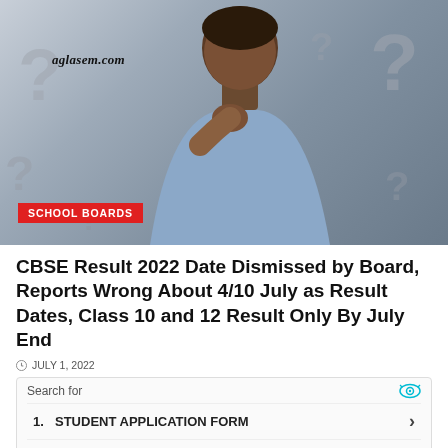[Figure (photo): A man in a blue shirt thinking with hand on chin, surrounded by question mark graphics on grey background. Watermark reads 'aglasem.com'. Red tag 'SCHOOL BOARDS' in bottom-left corner.]
CBSE Result 2022 Date Dismissed by Board, Reports Wrong About 4/10 July as Result Dates, Class 10 and 12 Result Only By July End
JULY 1, 2022
Search for
1. STUDENT APPLICATION FORM
2. PRACTICE TEST QUESTIONS